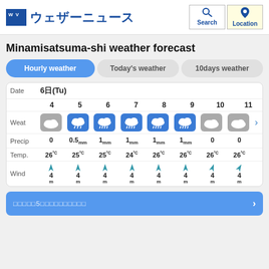ウェザーニュース
Minamisatsuma-shi weather forecast
Hourly weather | Today's weather | 10days weather
| Date | 4 | 5 | 6 | 7 | 8 | 9 | 10 | 11 |
| --- | --- | --- | --- | --- | --- | --- | --- | --- |
| 6日(Tu) |  |  |  |  |  |  |  |  |
| Weat | cloud | rain | rain | rain | rain | rain | cloud | cloud |
| Precip | 0 | 0.5mm | 1mm | 1mm | 1mm | 1mm | 0 | 0 |
| Temp. | 26°C | 25°C | 25°C | 24°C | 26°C | 26°C | 26°C | 26°C |
| Wind | 4m | 4m | 4m | 4m | 4m | 4m | 4m | 4m |
□□□□□5□□□□□□□□□□